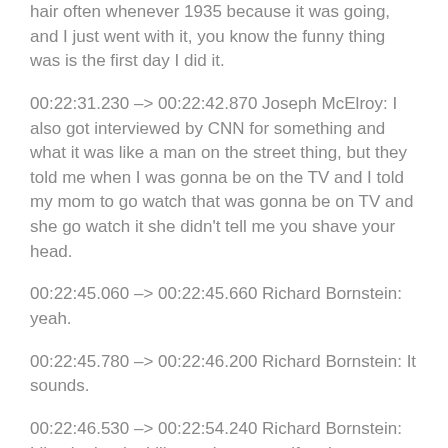hair often whenever 1935 because it was going, and I just went with it, you know the funny thing was is the first day I did it.
00:22:31.230 --> 00:22:42.870 Joseph McElroy: I also got interviewed by CNN for something and what it was like a man on the street thing, but they told me when I was gonna be on the TV and I told my mom to go watch that was gonna be on TV and she go watch it she didn't tell me you shave your head.
00:22:45.060 --> 00:22:45.660 Richard Bornstein: yeah.
00:22:45.780 --> 00:22:46.200 Richard Bornstein: It sounds.
00:22:46.530 --> 00:22:54.240 Richard Bornstein: Like that's why I like to shoot myself up here, you know so they don't you know it doesn't become a six head, you know I get it, I can but you Rockin Joseph.